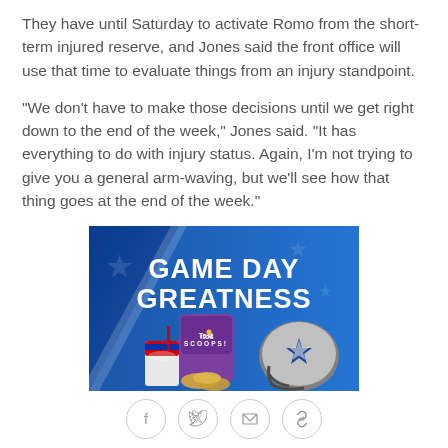They have until Saturday to activate Romo from the short-term injured reserve, and Jones said the front office will use that time to evaluate things from an injury standpoint.
"We don't have to make those decisions until we get right down to the end of the week," Jones said. "It has everything to do with injury status. Again, I'm not trying to give you a general arm-waving, but we'll see how that thing goes at the end of the week."
[Figure (photo): Advertisement banner for Tostitos Scoops showing 'GAME DAY GREATNESS' text on a blue background with Dallas Cowboys helmet, Tostitos Scoops bag, and Pepsi cup]
[Figure (other): Social media sharing icons: Facebook, Twitter, email, and link/share buttons arranged in a row]